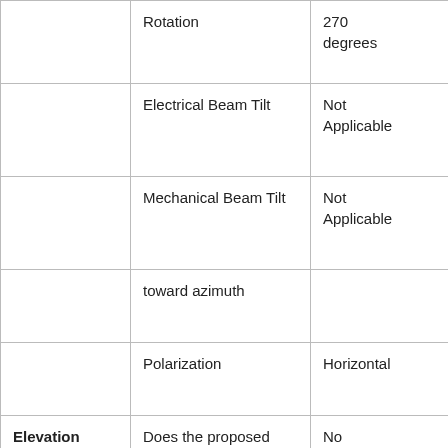|  | Rotation | 270 degrees |
|  | Electrical Beam Tilt | Not Applicable |
|  | Mechanical Beam Tilt | Not Applicable |
|  | toward azimuth |  |
|  | Polarization | Horizontal |
| Elevation Radiation Pattern | Does the proposed antenna propose elevation radiation patterns that vary with azimuth for reasons other than the use of | No |